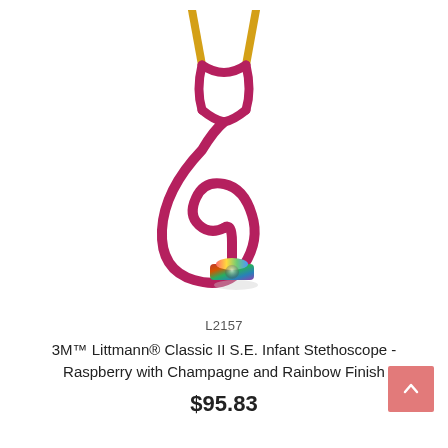[Figure (photo): A raspberry-colored stethoscope (3M Littmann Classic II S.E. Infant) with champagne/gold ear tubes and a rainbow-finish chestpiece, photographed on a white background.]
L2157
3M™ Littmann® Classic II S.E. Infant Stethoscope - Raspberry with Champagne and Rainbow Finish
$95.83